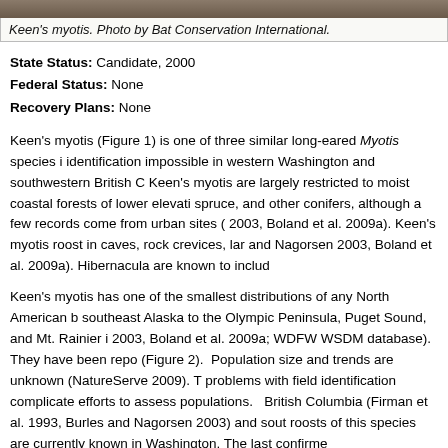[Figure (photo): Top strip of a bat photo (Keen's myotis), cropped at top of page]
Keen's myotis. Photo by Bat Conservation International.
State Status: Candidate, 2000
Federal Status: None
Recovery Plans: None
Keen's myotis (Figure 1) is one of three similar long-eared Myotis species i... identification impossible in western Washington and southwestern British C... Keen's myotis are largely restricted to moist coastal forests of lower elevati... spruce, and other conifers, although a few records come from urban sites (... 2003, Boland et al. 2009a). Keen's myotis roost in caves, rock crevices, lar... and Nagorsen 2003, Boland et al. 2009a). Hibernacula are known to includ...
Keen's myotis has one of the smallest distributions of any North American b... southeast Alaska to the Olympic Peninsula, Puget Sound, and Mt. Rainier i... 2003, Boland et al. 2009a; WDFW WSDM database). They have been repo... (Figure 2). Population size and trends are unknown (NatureServe 2009). T... problems with field identification complicate efforts to assess populations. ... British Columbia (Firman et al. 1993, Burles and Nagorsen 2003) and sout... roosts of this species are currently known in Washington. The last confirme...
Threats or potential threats include loss and fragmentation of habitat cause... forests and human development; disturbance of hibernacula and maternity ... logging road construction; predation by cats; and pesticide use in forests (B... 2009).